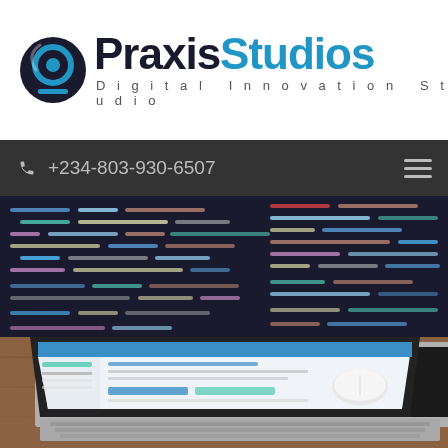[Figure (logo): Praxis Studios logo with circular P icon, bold text 'Praxis Studios' and tagline 'Digital Innovation Studio']
+234-803-930-6507
[Figure (photo): Dark background with colorful code editor text on a monitor]
[Figure (photo): MacBook Pro laptop open showing a web application UI, with a white Magic Mouse on a wooden desk; in the foreground a tablet showing a pricing page with 'Cennik', 'Darmowy', '37,5 PLN', '80 PLN']